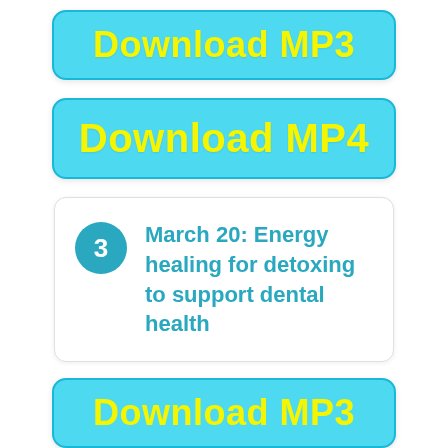[Figure (other): Blue rounded button with yellow bold text reading 'Download MP3']
[Figure (other): Blue rounded button with yellow bold text reading 'Download MP4']
3  March 20: Energy healing for detoxing to support dental health
[Figure (other): Blue rounded button with yellow bold text reading 'Download MP3']